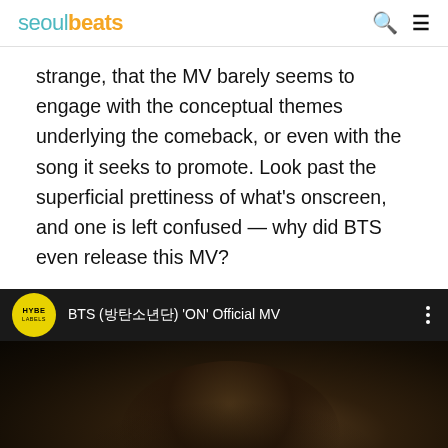seoulbeats
strange, that the MV barely seems to engage with the conceptual themes underlying the comeback, or even with the song it seeks to promote. Look past the superficial prettiness of what's onscreen, and one is left confused — why did BTS even release this MV?
[Figure (screenshot): YouTube video embed showing BTS (방탄소년단) 'ON' Official MV by HYBE LABELS, with the video thumbnail showing a person with dark hair in a dark scene]